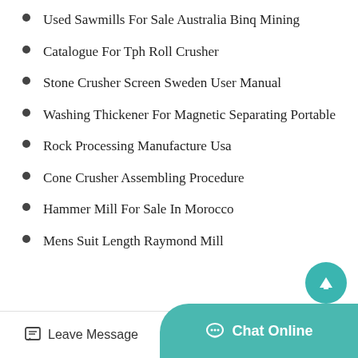Used Sawmills For Sale Australia Binq Mining
Catalogue For Tph Roll Crusher
Stone Crusher Screen Sweden User Manual
Washing Thickener For Magnetic Separating Portable
Rock Processing Manufacture Usa
Cone Crusher Assembling Procedure
Hammer Mill For Sale In Morocco
Mens Suit Length Raymond Mill
Leave Message   Chat Online